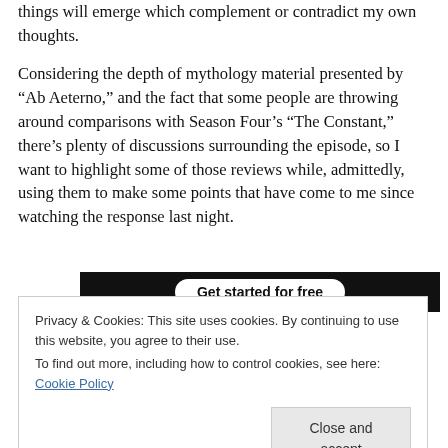things will emerge which complement or contradict my own thoughts.
Considering the depth of mythology material presented by “Ab Aeterno,” and the fact that some people are throwing around comparisons with Season Four’s “The Constant,” there’s plenty of discussions surrounding the episode, so I want to highlight some of those reviews while, admittedly, using them to make some points that have come to me since watching the response last night.
[Figure (other): Dark banner with 'Get started for free' button]
Privacy & Cookies: This site uses cookies. By continuing to use this website, you agree to their use.
To find out more, including how to control cookies, see here: Cookie Policy
Close and accept